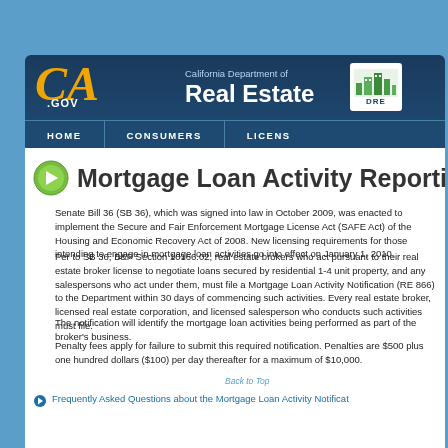California Department of Real Estate — CA.GOV — HOME | CONSUMERS | LICENS
Mortgage Loan Activity Reporting
Senate Bill 36 (SB 36), which was signed into law in October 2009, was enacted to implement the Secure and Fair Enforcement Mortgage License Act (SAFE Act) of the Housing and Economic Recovery Act of 2008. New licensing requirements for those intending to engage in mortgage loan activities go into effect on January 1, 2010.
Per to SB 36, B&P Section 10166.02, real estate brokers who act pursuant to their real estate broker license to negotiate loans secured by residential 1-4 unit property, and any salespersons who acts under them, must file a Mortgage Loan Activity Notification (RE 866) to the Department within 30 days of commencing such activities. Every real estate broker, licensed real estate corporation, and licensed salesperson who conducts such activities must file.
The notification will identify the mortgage loan activities being performed as part of the broker's business.
Penalty fees apply for failure to submit this required notification. Penalties are $500 plus one hundred dollars ($100) per day thereafter for a maximum of $10,000.
Frequently Asked Questions about the Mortgage Loan Activity Notificat